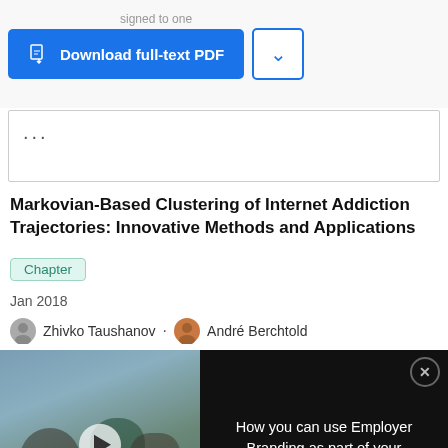[Figure (screenshot): Download full-text PDF button (blue) with dropdown arrow button on the right, overlaid on partially visible background text]
...
Markovian-Based Clustering of Internet Addiction Trajectories: Innovative Methods and Applications
Chapter
Jan 2018
Zhivko Taushanov · André Berchtold
[Figure (screenshot): Video overlay showing people in a library with title 'How you can use Employer Branding as part of your recruitment strategy in academia'. Left side has video thumbnail with play button and green overlay text. Right side is black with white text and close button.]
[Figure (screenshot): ThermoFisher Scientific advertisement with orange/red scientific image on left, ThermoFisher Scientific logo and text 'TMT Symposium: Multiplexing for the Masses' on right]